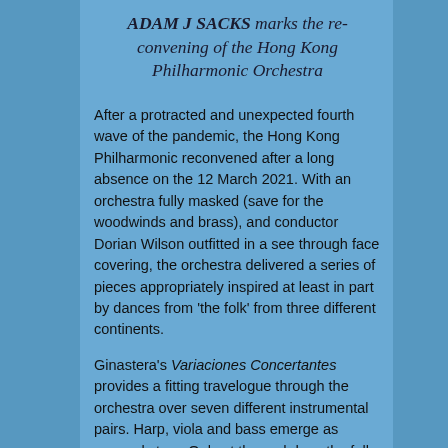ADAM J SACKS marks the re-convening of the Hong Kong Philharmonic Orchestra
After a protracted and unexpected fourth wave of the pandemic, the Hong Kong Philharmonic reconvened after a long absence on the 12 March 2021. With an orchestra fully masked (save for the woodwinds and brass), and conductor Dorian Wilson outfitted in a see through face covering, the orchestra delivered a series of pieces appropriately inspired at least in part by dances from 'the folk' from three different continents.
Ginastera's Variaciones Concertantes provides a fitting travelogue through the orchestra over seven different instrumental pairs. Harp, viola and bass emerge as unusual stars. Only at the end does the full orchestra emerge in support of a gaucho dance.